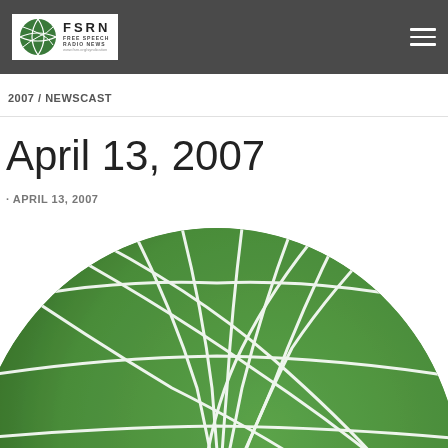FSRN FREE SPEECH RADIO NEWS
2007 / NEWSCAST
April 13, 2007
· APRIL 13, 2007
[Figure (illustration): Large green globe/sphere logo with white curved grid lines, partially cropped at bottom]